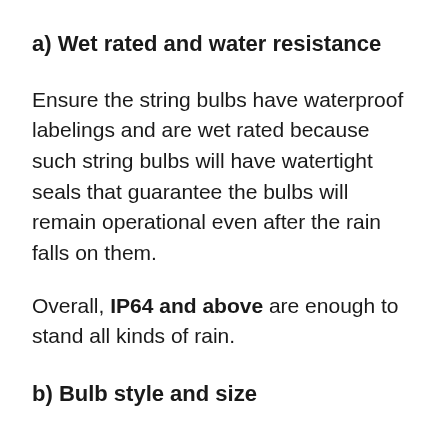a) Wet rated and water resistance
Ensure the string bulbs have waterproof labelings and are wet rated because such string bulbs will have watertight seals that guarantee the bulbs will remain operational even after the rain falls on them.
Overall, IP64 and above are enough to stand all kinds of rain.
b) Bulb style and size